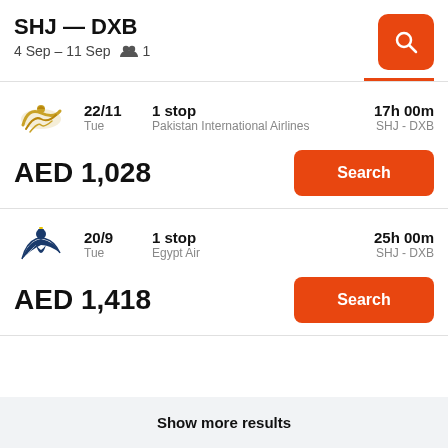SHJ — DXB
4 Sep – 11 Sep  👥 1
22/11 Tue | 1 stop Pakistan International Airlines | 17h 00m SHJ - DXB
AED 1,028
Search
20/9 Tue | 1 stop Egypt Air | 25h 00m SHJ - DXB
AED 1,418
Search
Show more results